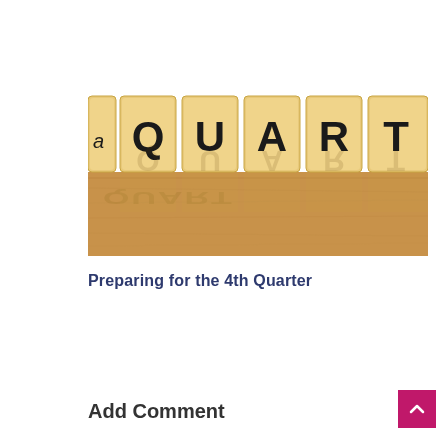[Figure (photo): Wooden letter tiles spelling out 'QUART' (part of QUARTER) standing on a wooden surface with reflection visible below. The tiles are tan/beige coloured scrabble-like blocks with bold black letters.]
Preparing for the 4th Quarter
Add Comment